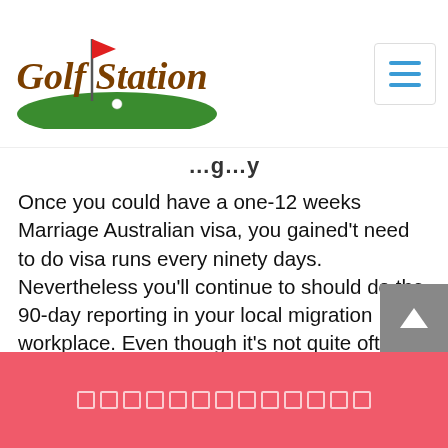Golf Station
…g…y
Once you could have a one-12 weeks Marriage Australian visa, you gained't need to do visa runs every ninety days. Nevertheless you'll continue to should do the 90-day reporting in your local migration workplace. Even though it's not quite often cited like a requirement, a foreigner applying for a one-yr off shoot have to be https://legitmailorderbride.com/thai-brides/ living with the Thai partner. For up-to-date information find Question 18 on the Thai Immigration web-site. Getting married in a beautiful and exotic setting like Thailand is usually a present from god.